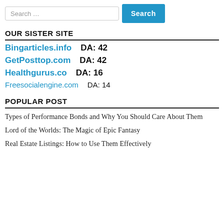OUR SISTER SITE
Bingarticles.info    DA: 42
GetPosttop.com    DA: 42
Healthgurus.co    DA: 16
Freesocialengine.com    DA: 14
POPULAR POST
Types of Performance Bonds and Why You Should Care About Them
Lord of the Worlds: The Magic of Epic Fantasy
Real Estate Listings: How to Use Them Effectively